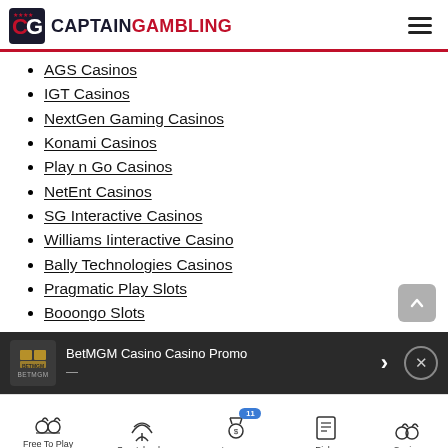CaptainGambling
AGS Casinos
IGT Casinos
NextGen Gaming Casinos
Konami Casinos
Play n Go Casinos
NetEnt Casinos
SG Interactive Casinos
Williams Iinteractive Casino
Bally Technologies Casinos
Pragmatic Play Slots
Booongo Slots
BetMGM Casino Casino Promo
Free To Play Casinos | Sportsbooks | Betting Promos | Picks | Casino